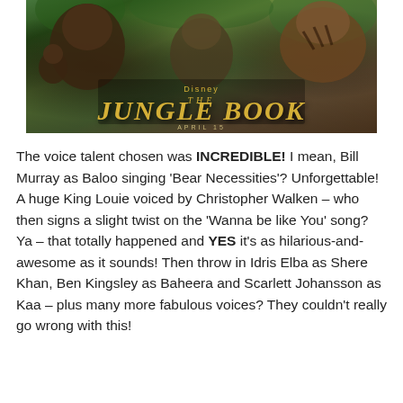[Figure (photo): Movie poster for Disney's The Jungle Book showing various jungle animals including an orangutan, bear, and tiger with the title 'The Jungle Book' in gold letters and release date April 15]
The voice talent chosen was INCREDIBLE! I mean, Bill Murray as Baloo singing 'Bear Necessities'? Unforgettable! A huge King Louie voiced by Christopher Walken – who then signs a slight twist on the 'Wanna be like You' song? Ya – that totally happened and YES it's as hilarious-and-awesome as it sounds! Then throw in Idris Elba as Shere Khan, Ben Kingsley as Baheera and Scarlett Johansson as Kaa – plus many more fabulous voices? They couldn't really go wrong with this!